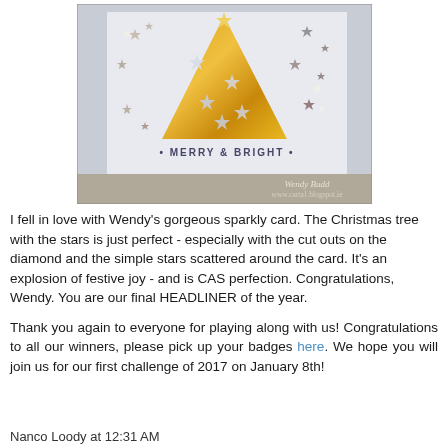[Figure (photo): A handmade Christmas card featuring a gold glitter triangle Christmas tree shape with star cut-outs and small stars scattered around on a white/light blue card background. Text reads 'MERRY & BRIGHT'. Watermark: Wendy Budd, www.carta1.blogspot.ie]
I fell in love with Wendy's gorgeous sparkly card.   The Christmas tree with the stars is just perfect - especially with the cut outs on the diamond and the simple stars scattered around the card.  It's an explosion of festive joy - and is CAS perfection.   Congratulations, Wendy.  You are our final HEADLINER of the year.
Thank you again to everyone for playing along with us!  Congratulations to all our winners, please pick up your badges here.  We hope you will join us for our first challenge of 2017 on January 8th!
Nanco Loody at 12:31 AM